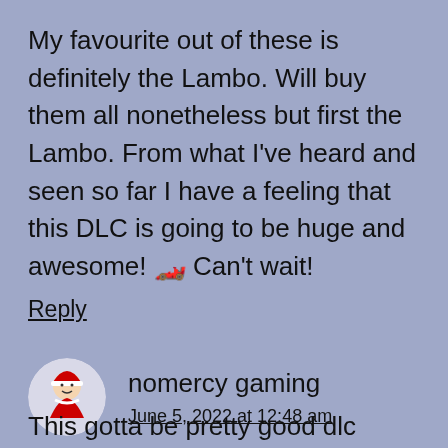My favourite out of these is definitely the Lambo. Will buy them all nonetheless but first the Lambo. From what I've heard and seen so far I have a feeling that this DLC is going to be huge and awesome! 🏎️ Can't wait!
Reply
nomercy gaming
June 5, 2022 at 12:48 am
This gotta be pretty good dlc